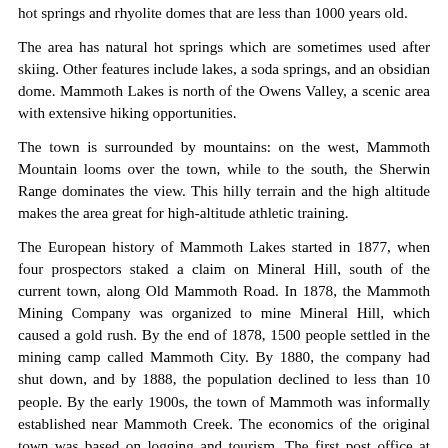hot springs and rhyolite domes that are less than 1000 years old.
The area has natural hot springs which are sometimes used after skiing. Other features include lakes, a soda springs, and an obsidian dome. Mammoth Lakes is north of the Owens Valley, a scenic area with extensive hiking opportunities.
The town is surrounded by mountains: on the west, Mammoth Mountain looms over the town, while to the south, the Sherwin Range dominates the view. This hilly terrain and the high altitude makes the area great for high-altitude athletic training.
The European history of Mammoth Lakes started in 1877, when four prospectors staked a claim on Mineral Hill, south of the current town, along Old Mammoth Road. In 1878, the Mammoth Mining Company was organized to mine Mineral Hill, which caused a gold rush. By the end of 1878, 1500 people settled in the mining camp called Mammoth City. By 1880, the company had shut down, and by 1888, the population declined to less than 10 people. By the early 1900s, the town of Mammoth was informally established near Mammoth Creek. The economics of the original town was based on logging and tourism. The first post office at Mammoth Lakes opened in 1923.